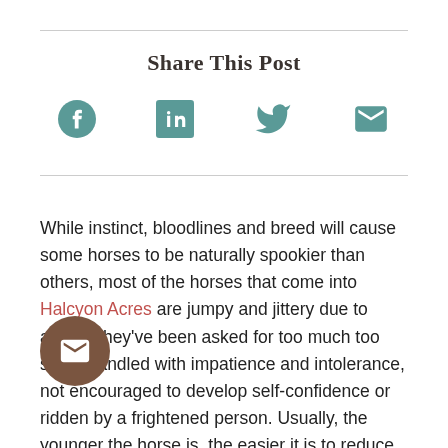Share This Post
[Figure (infographic): Social sharing icons: Facebook, LinkedIn, Twitter, Email]
While instinct, bloodlines and breed will cause some horses to be naturally spookier than others, most of the horses that come into Halcyon Acres are jumpy and jittery due to angst. They've been asked for too much too soon, handled with impatience and intolerance, not encouraged to develop self-confidence or ridden by a frightened person. Usually, the younger the horse is, the easier it is to reduce or eliminate spooky behavior, but horses of all